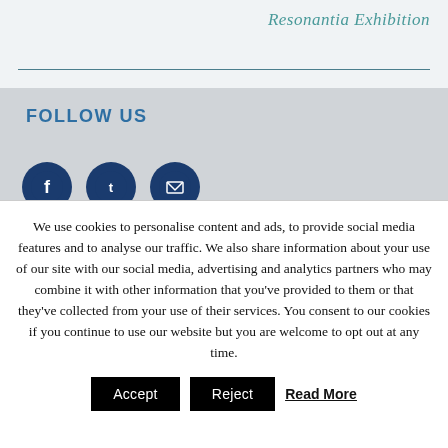Resonantia Exhibition
FOLLOW US
[Figure (illustration): Three circular social media icon buttons (Facebook, Twitter, Email) with dark navy blue background]
We use cookies to personalise content and ads, to provide social media features and to analyse our traffic. We also share information about your use of our site with our social media, advertising and analytics partners who may combine it with other information that you've provided to them or that they've collected from your use of their services. You consent to our cookies if you continue to use our website but you are welcome to opt out at any time.
Accept  Reject  Read More